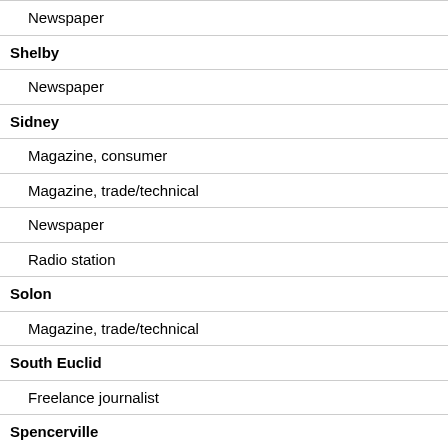| Newspaper |
| Shelby |
| Newspaper |
| Sidney |
| Magazine, consumer |
| Magazine, trade/technical |
| Newspaper |
| Radio station |
| Solon |
| Magazine, trade/technical |
| South Euclid |
| Freelance journalist |
| Spencerville |
| Newspaper |
| Springboro |
| Freelance journalist |
| Springfield |